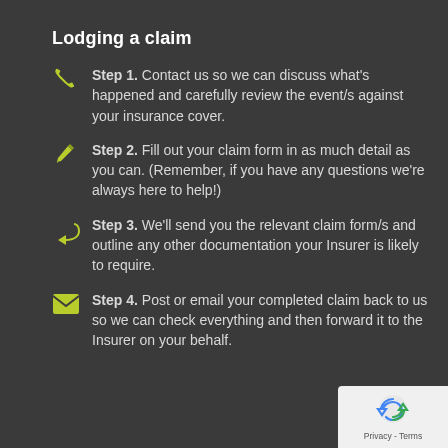Lodging a claim
Step 1. Contact us so we can discuss what's happened and carefully review the event/s against your insurance cover.
Step 2. Fill out your claim form in as much detail as you can. (Remember, if you have any questions we're always here to help!)
Step 3. We'll send you the relevant claim form/s and outline any other documentation your Insurer is likely to require.
Step 4. Post or email your completed claim back to us so we can check everything and then forward it to the Insurer on your behalf.
[Figure (logo): Google reCAPTCHA logo with Privacy - Terms text]